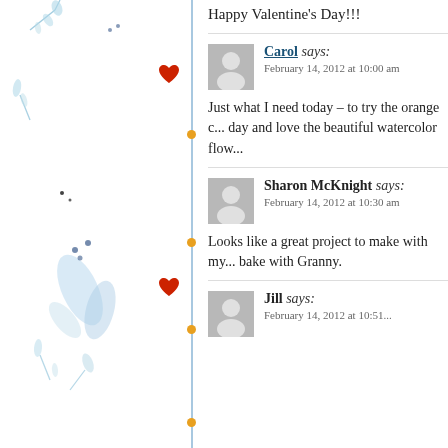Happy Valentine’s Day!!!
Carol says:
February 14, 2012 at 10:00 am

Just what I need today – to try the orange c... day and love the beautiful watercolor flow...
Sharon McKnight says:
February 14, 2012 at 10:30 am

Looks like a great project to make with my... bake with Granny.
Jill says:
February 14, 2012 at 10:51...